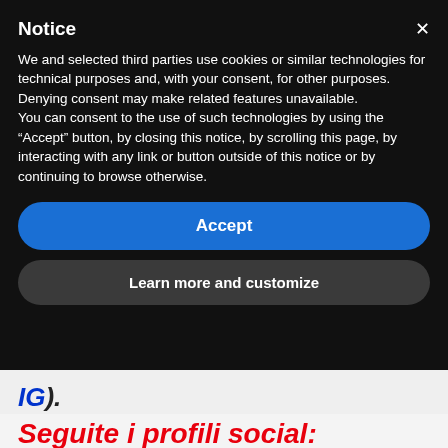Notice
We and selected third parties use cookies or similar technologies for technical purposes and, with your consent, for other purposes. Denying consent may make related features unavailable.
You can consent to the use of such technologies by using the “Accept” button, by closing this notice, by scrolling this page, by interacting with any link or button outside of this notice or by continuing to browse otherwise.
Accept
Learn more and customize
[Figure (logo): IG logo in blue and red italic bold font with a period]
Seguite i profili social: